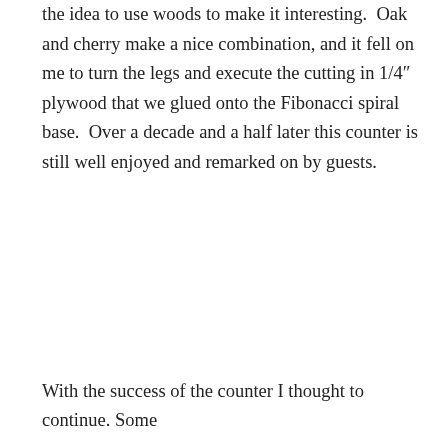the idea to use woods to make it interesting.  Oak and cherry make a nice combination, and it fell on me to turn the legs and execute the cutting in 1/4″ plywood that we glued onto the Fibonacci spiral base.  Over a decade and a half later this counter is still well enjoyed and remarked on by guests.
With the success of the counter I thought to continue. Some